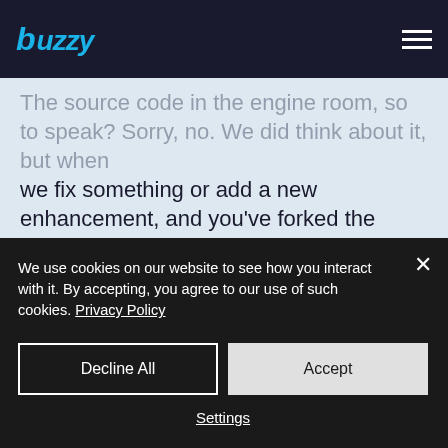buzzy
The source code in the engine room, so to speak? Sorry, no. We did think about it, but when we fix something or add a new enhancement, and you've forked the code, it becomes harder to maintain. At this point of time, our full dev team is there to take the pain of development away from your team, so to streamline this we manage the source.
We use cookies on our website to see how you interact with it. By accepting, you agree to our use of such cookies. Privacy Policy
Decline All
Accept
Settings